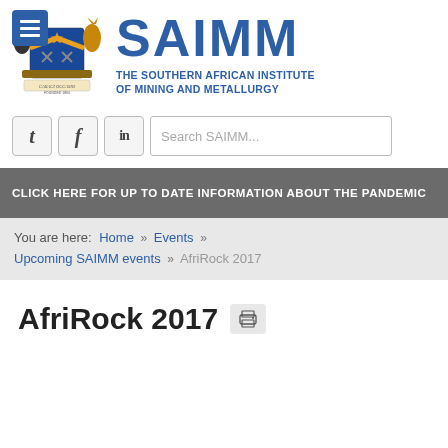[Figure (logo): SAIMM logo with coat of arms crest and SAIMM wordmark text 'THE SOUTHERN AFRICAN INSTITUTE OF MINING AND METALLURGY']
Search SAIMM...
CLICK HERE FOR UP TO DATE INFORMATION ABOUT THE PANDEMIC
You are here: Home » Events » Upcoming SAIMM events » AfriRock 2017
AfriRock 2017